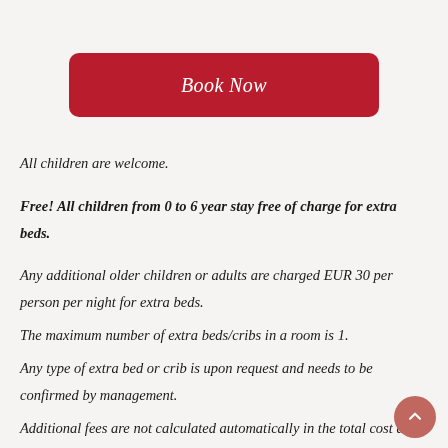[Figure (other): Red 'Book Now' button with rounded corners on a light beige background]
All children are welcome.
Free! All children from 0 to 6 year stay free of charge for extra beds.
Any additional older children or adults are charged EUR 30 per person per night for extra beds.
The maximum number of extra beds/cribs in a room is 1.
Any type of extra bed or crib is upon request and needs to be confirmed by management.
Additional fees are not calculated automatically in the total cost and will have to be paid for separately during